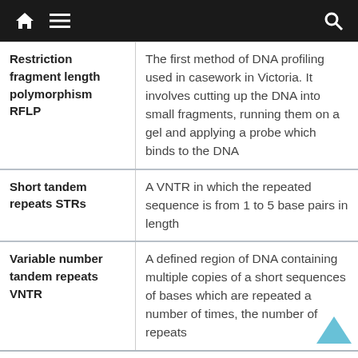Navigation bar with home, menu, and search icons
| Term | Definition |
| --- | --- |
| Restriction fragment length polymorphism RFLP | The first method of DNA profiling used in casework in Victoria. It involves cutting up the DNA into small fragments, running them on a gel and applying a probe which binds to the DNA |
| Short tandem repeats STRs | A VNTR in which the repeated sequence is from 1 to 5 base pairs in length |
| Variable number tandem repeats VNTR | A defined region of DNA containing multiple copies of a short sequences of bases which are repeated a number of times, the number of repeats |